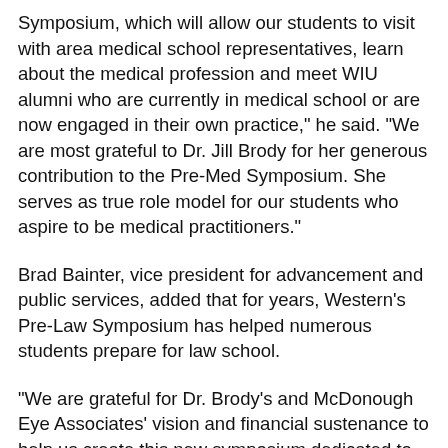Symposium, which will allow our students to visit with area medical school representatives, learn about the medical profession and meet WIU alumni who are currently in medical school or are now engaged in their own practice," he said. "We are most grateful to Dr. Jill Brody for her generous contribution to the Pre-Med Symposium. She serves as true role model for our students who aspire to be medical practitioners."
Brad Bainter, vice president for advancement and public services, added that for years, Western's Pre-Law Symposium has helped numerous students prepare for law school.
"We are grateful for Dr. Brody's and McDonough Eye Associates' vision and financial sustenance to help us create this new symposium dedicated to the medical field," Bainter said.